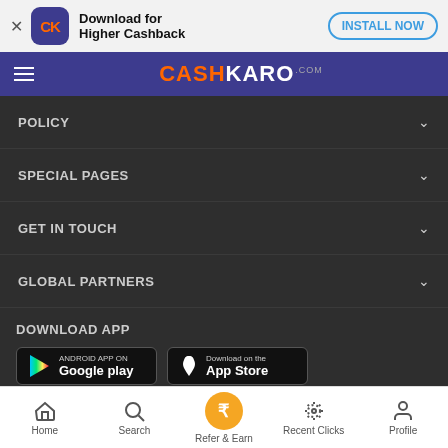[Figure (screenshot): CashKaro app install banner with logo, text 'Download for Higher Cashback', and 'INSTALL NOW' button]
CASHKARO.com
POLICY
SPECIAL PAGES
GET IN TOUCH
GLOBAL PARTNERS
DOWNLOAD APP
[Figure (logo): Google Play store badge]
[Figure (logo): Apple App Store badge]
(C) Copyright 2022 CashKaro. All Rights Reserved
Home | Search | Refer & Earn | Recent Clicks | Profile